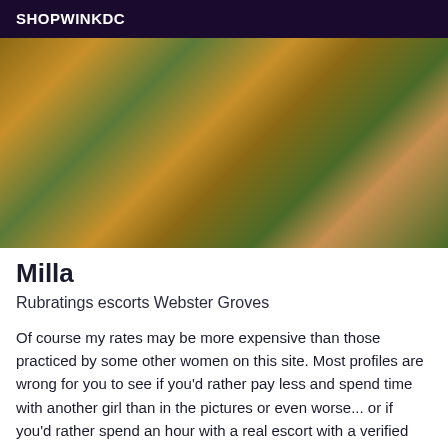SHOPWINKDC
[Figure (photo): Outdoor photo with green grass background]
Milla
Rubratings escorts Webster Groves
Of course my rates may be more expensive than those practiced by some other women on this site. Most profiles are wrong for you to see if you'd rather pay less and spend time with another girl than in the pictures or even worse... or if you'd rather spend an hour with a real escort with a verified profile, approved photos and